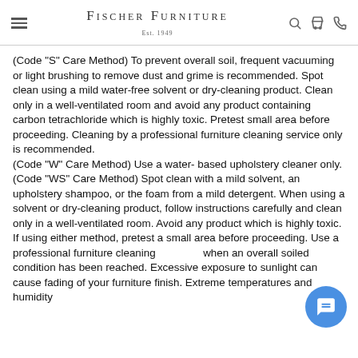Fischer Furniture Est. 1949
(Code "S" Care Method) To prevent overall soil, frequent vacuuming or light brushing to remove dust and grime is recommended. Spot clean using a mild water-free solvent or dry-cleaning product. Clean only in a well-ventilated room and avoid any product containing carbon tetrachloride which is highly toxic. Pretest small area before proceeding. Cleaning by a professional furniture cleaning service only is recommended.
(Code "W" Care Method) Use a water- based upholstery cleaner only.
(Code "WS" Care Method) Spot clean with a mild solvent, an upholstery shampoo, or the foam from a mild detergent. When using a solvent or dry-cleaning product, follow instructions carefully and clean only in a well-ventilated room. Avoid any product which is highly toxic. If using either method, pretest a small area before proceeding. Use a professional furniture cleaning service when an overall soiled condition has been reached. Excessive exposure to sunlight can cause fading of your furniture finish. Extreme temperatures and humidity